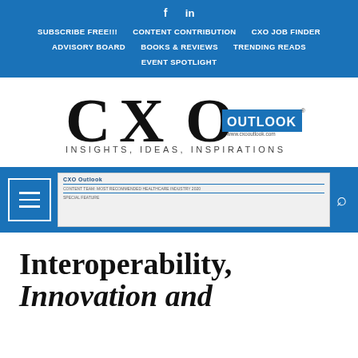f  in  SUBSCRIBE FREE!!!  CONTENT CONTRIBUTION  CXO JOB FINDER  ADVISORY BOARD  BOOKS & REVIEWS  TRENDING READS  EVENT SPOTLIGHT
[Figure (logo): CXO Outlook logo with tagline INSIGHTS, IDEAS, INSPIRATIONS and website www.cxooutlook.com]
[Figure (screenshot): Blue navigation banner with hamburger menu icon, magazine thumbnail, and search icon]
Interoperability, Innovation and